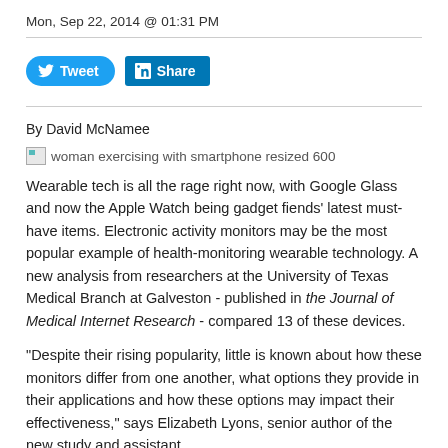Mon, Sep 22, 2014 @ 01:31 PM
[Figure (other): Tweet and Share social media buttons]
By David McNamee
[Figure (photo): woman exercising with smartphone resized 600]
Wearable tech is all the rage right now, with Google Glass and now the Apple Watch being gadget fiends' latest must-have items. Electronic activity monitors may be the most popular example of health-monitoring wearable technology. A new analysis from researchers at the University of Texas Medical Branch at Galveston - published in the Journal of Medical Internet Research - compared 13 of these devices.
"Despite their rising popularity, little is known about how these monitors differ from one another, what options they provide in their applications and how these options may impact their effectiveness," says Elizabeth Lyons, senior author of the new study and assistant